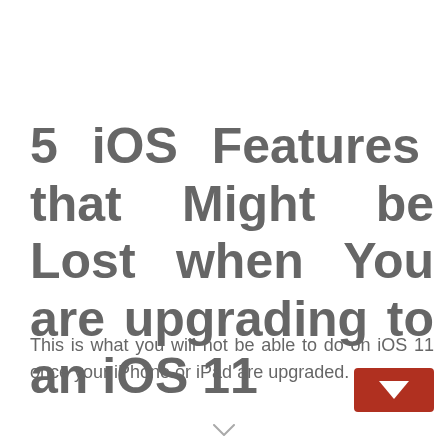5 iOS Features that Might be Lost when You are upgrading to an iOS 11
This is what you will not be able to do on iOS 11 once your iPhone or iPad are upgraded.